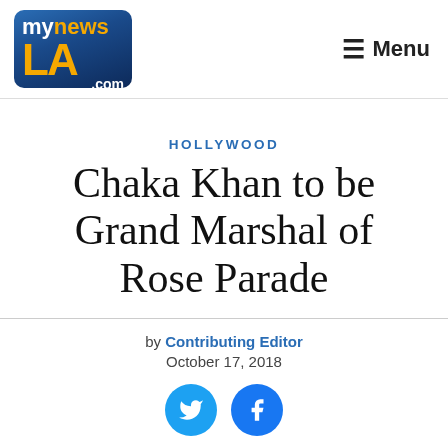mynewsLA.com | Menu
HOLLYWOOD
Chaka Khan to be Grand Marshal of Rose Parade
by Contributing Editor
October 17, 2018
[Figure (infographic): Twitter and Facebook share buttons (cyan circles with bird and f icons)]